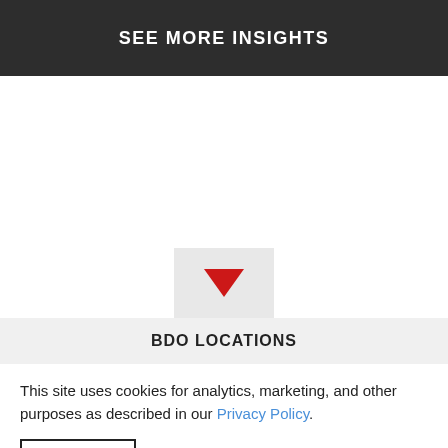SEE MORE INSIGHTS
[Figure (other): Red downward-pointing triangle arrow icon inside a light grey box]
BDO LOCATIONS
This site uses cookies for analytics, marketing, and other purposes as described in our Privacy Policy.
OK